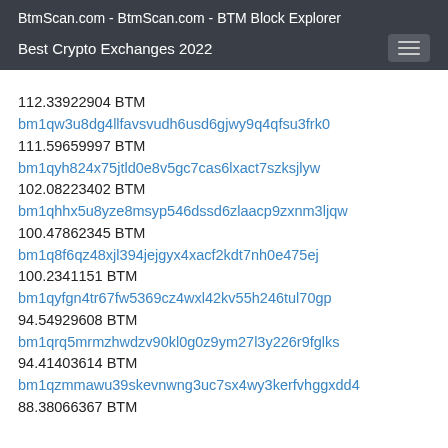BtmScan.com - BtmScan.com - BTM Block Explorer
Best Crypto Exchanges 2022
112.33922904 BTM
bm1qw3u8dg4llfavsvudh6usd6gjwy9q4qfsu3frk0
111.59659997 BTM
bm1qyh824x75jtld0e8v5gc7cas6lxact7szksjlyw
102.08223402 BTM
bm1qhhx5u8yze8msyp546dssd6zlaacp9zxnm3ljqw
100.47862345 BTM
bm1q8f6qz48xjl394jejgyx4xacf2kdt7nh0e475ej
100.2341151 BTM
bm1qyfgn4tr67fw5369cz4wxl42kv55h246tul70gp
94.54929608 BTM
bm1qrq5mrmzhwdzv90kl0g0z9ym27l3y226r9fglks
94.41403614 BTM
bm1qzmmawu39skevnwng3uc7sx4wy3kerfvhggxdd4
88.38066367 BTM